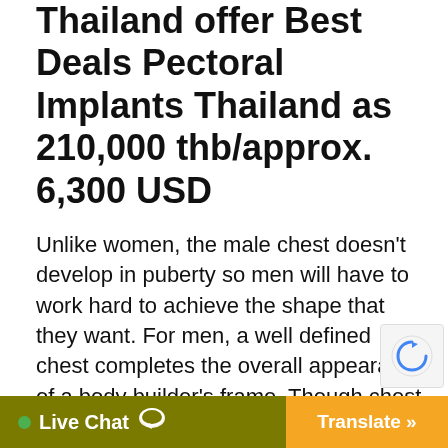Thailand offer Best Deals Pectoral Implants Thailand as 210,000 thb/approx. 6,300 USD
Unlike women, the male chest doesn't develop in puberty so men will have to work hard to achieve the shape that they want. For men, a well defined chest completes the overall appearance of a body builder's frame. Though chest muscles (pectoralis major) develop and improve with the right exercise, some men just can't achieve the right definition. Most men will be able to achieve the fullness and thickness that they wan... but never t...